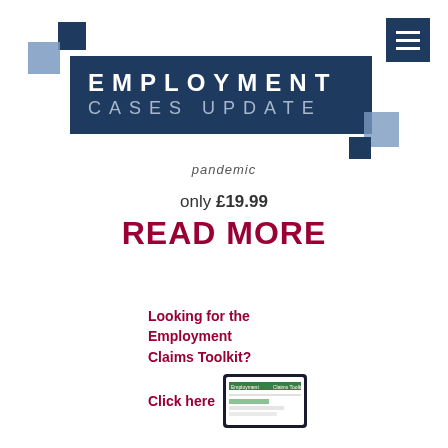[Figure (logo): Employment Cases Update logo with blue squares and banner]
pandemic
only £19.99
READ MORE
Looking for the Employment Claims Toolkit?
Click here